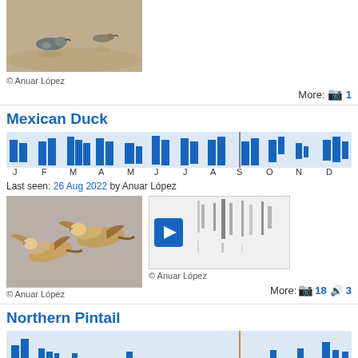[Figure (photo): Two shorebirds on water surface]
© Anuar López
More: 📷 1
Mexican Duck
[Figure (bar-chart): Monthly bar chart showing sightings throughout the year with marker at S]
Last seen: 26 Aug 2022 by Anuar López
[Figure (photo): Two Mexican Ducks in flight]
© Anuar López
[Figure (other): Spectrogram with play button]
© Anuar López
More: 📷 18 🔊 3
Northern Pintail
[Figure (bar-chart): Monthly bar chart showing sightings with marker at S]